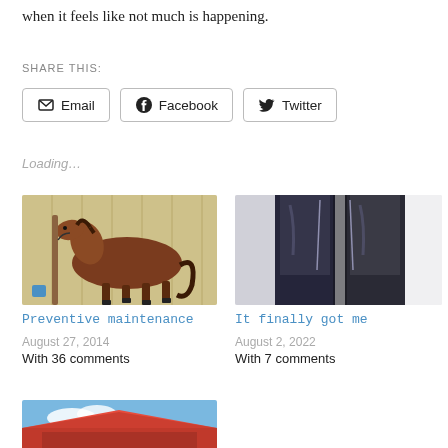when it feels like not much is happening.
SHARE THIS:
Email | Facebook | Twitter
Loading…
[Figure (photo): Brown horse standing in a barn, hitched to a post, side profile view]
Preventive maintenance
August 27, 2014
With 36 comments
[Figure (photo): Close-up of equestrian tall boots, black leather riding boots standing upright]
It finally got me
August 2, 2022
With 7 comments
[Figure (photo): Partial view of a barn structure with red roof and blue sky visible]